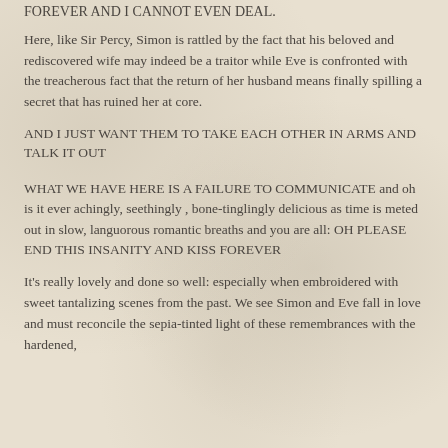FOREVER AND I CANNOT EVEN DEAL.
Here, like Sir Percy, Simon is rattled by the fact that his beloved and rediscovered wife may indeed be a traitor while Eve is confronted with the treacherous fact that the return of her husband means finally spilling a secret that has ruined her at core.
AND I JUST WANT THEM TO TAKE EACH OTHER IN ARMS AND TALK IT OUT
WHAT WE HAVE HERE IS A FAILURE TO COMMUNICATE and oh is it ever achingly, seethingly , bone-tinglingly delicious as time is meted out in slow, languorous romantic breaths and you are all: OH PLEASE END THIS INSANITY AND KISS FOREVER
It's really lovely and done so well: especially when embroidered with sweet tantalizing scenes from the past. We see Simon and Eve fall in love and must reconcile the sepia-tinted light of these remembrances with the hardened,